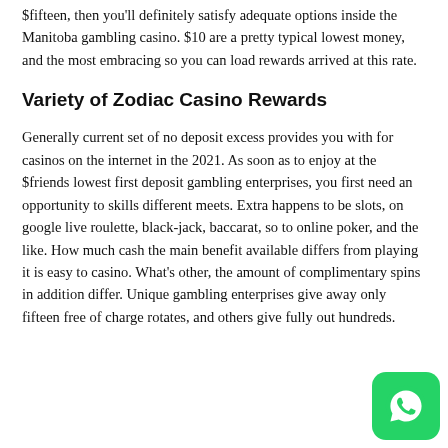$fifteen, then you'll definitely satisfy adequate options inside the Manitoba gambling casino. $10 are a pretty typical lowest money, and the most embracing so you can load rewards arrived at this rate.
Variety of Zodiac Casino Rewards
Generally current set of no deposit excess provides you with for casinos on the internet in the 2021. As soon as to enjoy at the $friends lowest first deposit gambling enterprises, you first need an opportunity to skills different meets. Extra happens to be slots, on google live roulette, black-jack, baccarat, so to online poker, and the like. How much cash the main benefit available differs from playing it is easy to casino. What's other, the amount of complimentary spins in addition differ. Unique gambling enterprises give away only fifteen free of charge rotates, and others give fully out hundreds.